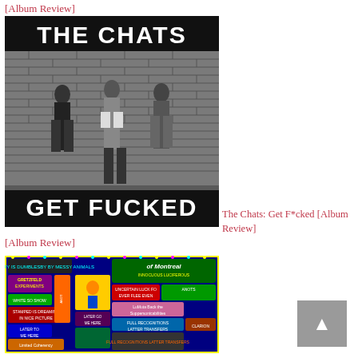[Album Review]
[Figure (photo): Album cover for 'The Chats: Get Fucked' — black and white photo of three young men standing against a brick wall, with bold white text 'THE CHATS' at the top and 'GET FUCKED' at the bottom on a black background.]
The Chats: Get F*cked [Album Review]
[Album Review]
[Figure (photo): Colorful, densely illustrated album cover for of Montreal, featuring pixel art and vivid neon colors with various text blocks and illustrations arranged in a grid-like layout.]